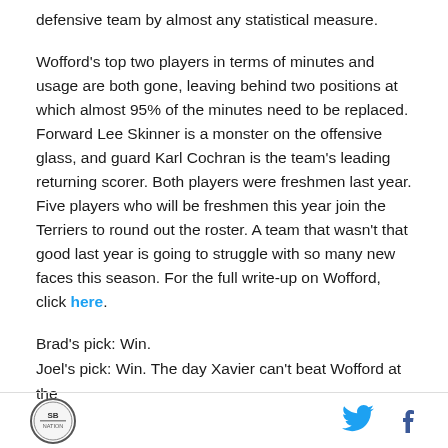defensive team by almost any statistical measure.
Wofford's top two players in terms of minutes and usage are both gone, leaving behind two positions at which almost 95% of the minutes need to be replaced. Forward Lee Skinner is a monster on the offensive glass, and guard Karl Cochran is the team's leading returning scorer. Both players were freshmen last year. Five players who will be freshmen this year join the Terriers to round out the roster. A team that wasn't that good last year is going to struggle with so many new faces this season. For the full write-up on Wofford, click here.
Brad's pick: Win.
Joel's pick: Win. The day Xavier can't beat Wofford at the
[Figure (logo): SB Nation logo - circular emblem with stylized design]